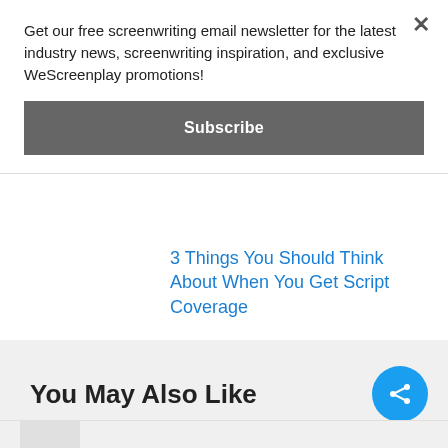Get our free screenwriting email newsletter for the latest industry news, screenwriting inspiration, and exclusive WeScreenplay promotions!
Subscribe
3 Things You Should Think About When You Get Script Coverage
You May Also Like